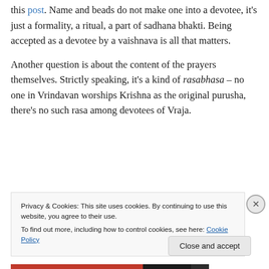this post. Name and beads do not make one into a devotee, it's just a formality, a ritual, a part of sadhana bhakti. Being accepted as a devotee by a vaishnava is all that matters.
Another question is about the content of the prayers themselves. Strictly speaking, it's a kind of rasabhasa – no one in Vrindavan worships Krishna as the original purusha, there's no such rasa among devotees of Vraja.
Privacy & Cookies: This site uses cookies. By continuing to use this website, you agree to their use.
To find out more, including how to control cookies, see here: Cookie Policy
Close and accept